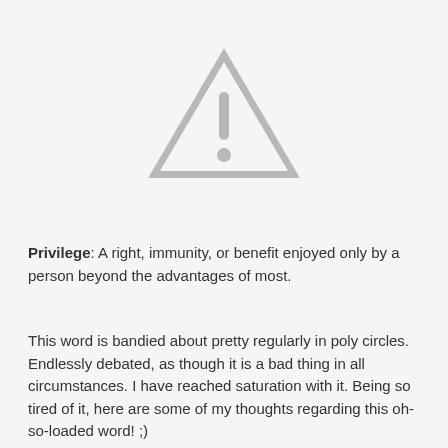[Figure (illustration): A grey warning/caution triangle icon with an exclamation mark inside, centered near the top of the page.]
Privilege: A right, immunity, or benefit enjoyed only by a person beyond the advantages of most.
This word is bandied about pretty regularly in poly circles. Endlessly debated, as though it is a bad thing in all circumstances. I have reached saturation with it. Being so tired of it, here are some of my thoughts regarding this oh-so-loaded word! ;)